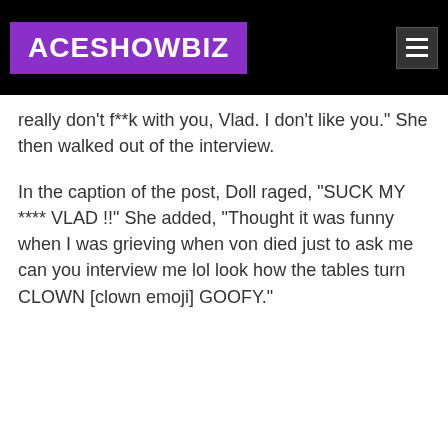ACESHOWBIZ
really don't f**k with you, Vlad. I don't like you." She then walked out of the interview.
In the caption of the post, Doll raged, "SUCK MY **** VLAD !!" She added, "Thought it was funny when I was grieving when von died just to ask me can you interview me lol look how the tables turn CLOWN [clown emoji] GOOFY."